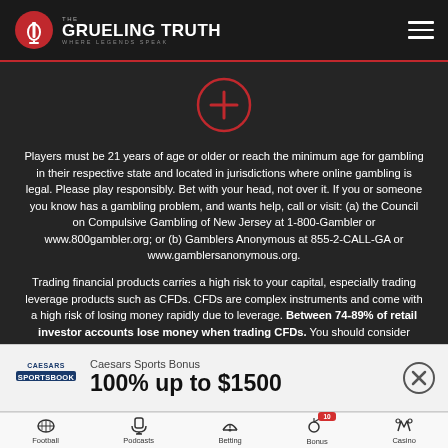THE GRUELING TRUTH — WHERE LEGENDS SPEAK
[Figure (illustration): Red circle with plus (+) sign icon]
Players must be 21 years of age or older or reach the minimum age for gambling in their respective state and located in jurisdictions where online gambling is legal. Please play responsibly. Bet with your head, not over it. If you or someone you know has a gambling problem, and wants help, call or visit: (a) the Council on Compulsive Gambling of New Jersey at 1-800-Gambler or www.800gambler.org; or (b) Gamblers Anonymous at 855-2-CALL-GA or www.gamblersanonymous.org.
Trading financial products carries a high risk to your capital, especially trading leverage products such as CFDs. CFDs are complex instruments and come with a high risk of losing money rapidly due to leverage. Between 74-89% of retail investor accounts lose money when trading CFDs. You should consider whether you understand how CFDs work and
[Figure (logo): Caesars Sportsbook logo]
Caesars Sports Bonus
100% up to $1500
Football | Podcasts | Betting | Bonus 10 | Casino